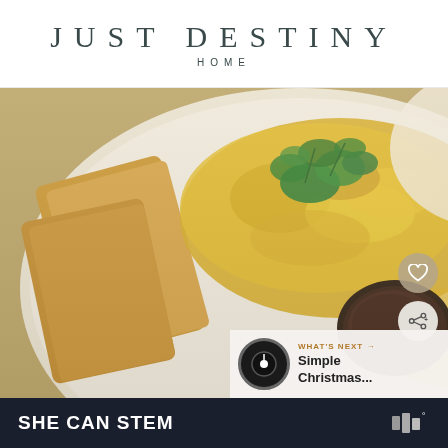JUST DESTINY HOME
[Figure (photo): Close-up food photo of scrambled eggs with fresh cilantro garnish, toast slices, and a grilled sausage patty on a white scalloped plate. Overlay UI elements include a heart/favorite button, a share button, and a 'What's Next' preview bar showing 'Simple Christmas...' with a dark circular icon.]
[Figure (infographic): Dark navy advertisement banner reading 'SHE CAN STEM' in bold white uppercase text, with a logo on the right side.]